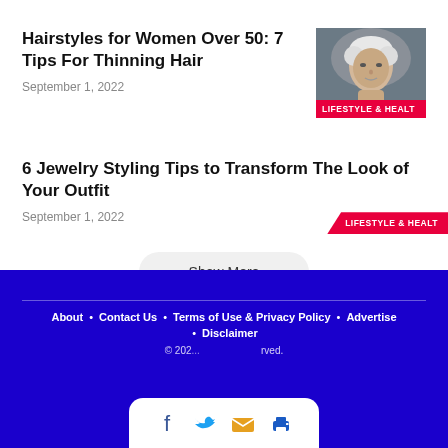Hairstyles for Women Over 50: 7 Tips For Thinning Hair
September 1, 2022
[Figure (photo): Photo of a woman with short grey/white hair against a dark background, with LIFESTYLE & HEALTH badge]
6 Jewelry Styling Tips to Transform The Look of Your Outfit
September 1, 2022
[Figure (other): LIFESTYLE & HEALTH badge/label (no image visible)]
Show More
About · Contact Us · Terms of Use & Privacy Policy · Advertise · Disclaimer © 202... All rights reserved.